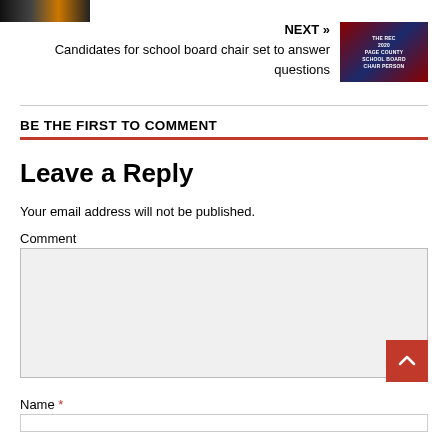[Figure (photo): Small dark thumbnail image at top left, appears to be a sunset or landscape]
NEXT » Candidates for school board chair set to answer questions
[Figure (photo): Thumbnail showing Page County School Board Chair Person 2020 election graphic with red/blue design]
BE THE FIRST TO COMMENT
Leave a Reply
Your email address will not be published.
Comment
Name *